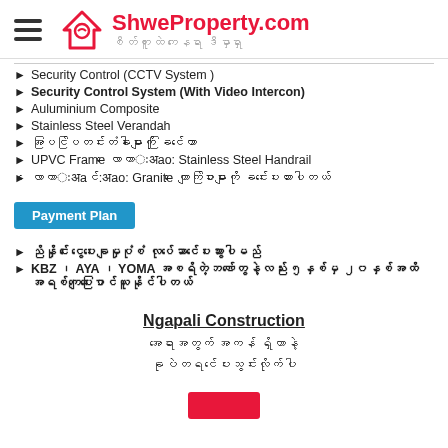ShweProperty.com
Security Control (CCTV System )
Security Control System (With Video Intercon)
Auluminium Composite
Stainless Steel Verandah
အပြင်ပြတင်းတံခါးများကို ခြင်ကောာ
UPVC Frame လောကာःअao: Stainless Steel Handrail
လောကာःअaင်:अao: Granite ကျောက်ပြားများကို ခင်းပေးထားပါတယ်
Payment Plan
ညိနှိုင်း ငွေပေးချေမှုပုံစံ လုပ်ဆောင်ပေးသွားပါမည်
KBZ ၊ AYA ၊ YOMA  အစရိတဲ့ဘဏ်တွေနဲ့လည်း ၅နှစ်မှ ၂၀နှစ်အထိ အရစ်ကျပေးပြောင်ယူနိုင်ပါတယ်
Ngapali Construction
အရောအတွက် အကန် ရှိတာနဲ့
ခုပဲတရင်ပေးသွင်းလိုက်ပါ